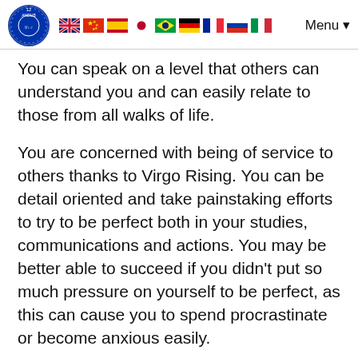[Logo: 12 Andub] [Flags: UK, China, Spain, Japan, Brazil, Germany, France, Russia, Italy] Menu
You can speak on a level that others can understand you and can easily relate to those from all walks of life.
You are concerned with being of service to others thanks to Virgo Rising. You can be detail oriented and take painstaking efforts to try to be perfect both in your studies, communications and actions. You may be better able to succeed if you didn't put so much pressure on yourself to be perfect, as this can cause you to spend procrastinate or become anxious easily.
Sun in Gemini in your ninth house places